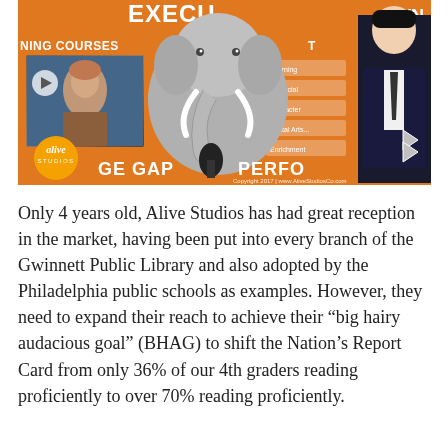[Figure (photo): Video screenshot/photo from Alive Studios showing an orange branded backdrop with text 'EXECU...', 'PLAYBO...', 'NING COURSES', an elephant graphic, a woman visible in a video thumbnail on the left, a man in a suit on the right, microphone, and the Alive Studios logo in the bottom left corner. Copyright 2017 AliveStudiosCo.com.]
Only 4 years old, Alive Studios has had great reception in the market, having been put into every branch of the Gwinnett Public Library and also adopted by the Philadelphia public schools as examples. However, they need to expand their reach to achieve their “big hairy audacious goal” (BHAG) to shift the Nation’s Report Card from only 36% of our 4th graders reading proficiently to over 70% reading proficiently.